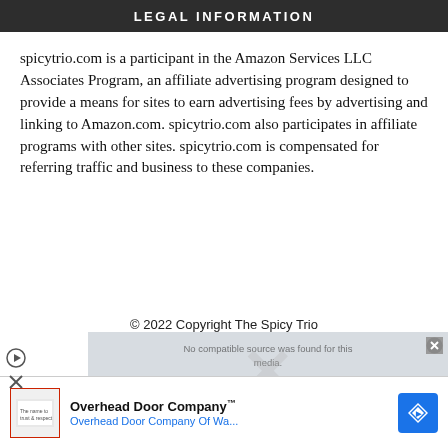LEGAL INFORMATION
spicytrio.com is a participant in the Amazon Services LLC Associates Program, an affiliate advertising program designed to provide a means for sites to earn advertising fees by advertising and linking to Amazon.com. spicytrio.com also participates in affiliate programs with other sites. spicytrio.com is compensated for referring traffic and business to these companies.
© 2022 Copyright The Spicy Trio
[Figure (screenshot): An advertisement overlay showing 'No compatible source was found for this media.' message and an Overhead Door Company ad unit with logo, company name, and navigation icon. Play and close buttons visible.]